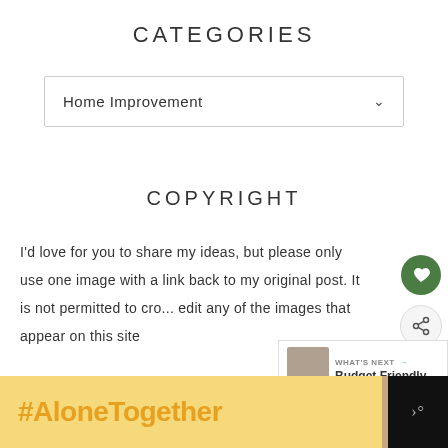CATEGORIES
Home Improvement
COPYRIGHT
I'd love for you to share my ideas, but please only use one image with a link back to my original post. It is not permitted to cro... edit any of the images that appear on this site
[Figure (infographic): Advertisement banner: yellow background with #AloneTogether hashtag text in orange, woman photo, close buttons, and dark right panel with dots icon]
[Figure (infographic): WHAT'S NEXT panel showing Budget Friendly... article preview with image thumbnail]